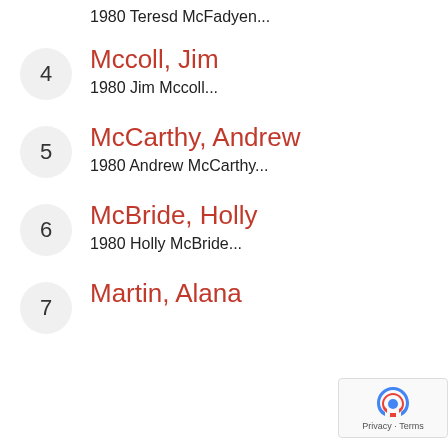1980 Teresd McFadyen...
4 Mccoll, Jim
1980 Jim Mccoll...
5 McCarthy, Andrew
1980 Andrew McCarthy...
6 McBride, Holly
1980 Holly McBride...
7 Martin, Alana